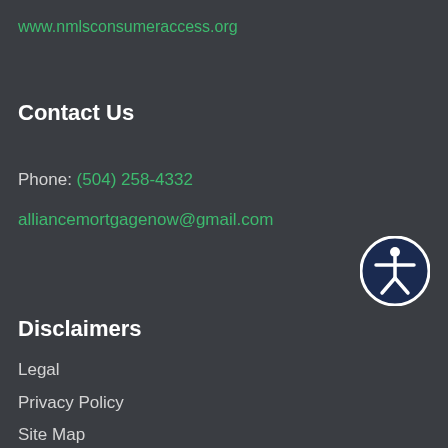www.nmlsconsumeraccess.org
Contact Us
Phone: (504) 258-4332
alliancemortgagenow@gmail.com
[Figure (illustration): Accessibility icon: white human figure with arms outstretched inside a circle, on a dark blue circular background with white border ring]
Disclaimers
Legal
Privacy Policy
Site Map
Resources